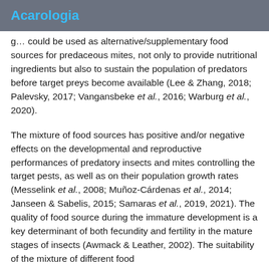Acarologia
g... could be used as alternative/supplementary food sources for predaceous mites, not only to provide nutritional ingredients but also to sustain the population of predators before target preys become available (Lee & Zhang, 2018; Palevsky, 2017; Vangansbeke et al., 2016; Warburg et al., 2020).
The mixture of food sources has positive and/or negative effects on the developmental and reproductive performances of predatory insects and mites controlling the target pests, as well as on their population growth rates (Messelink et al., 2008; Muñoz-Cárdenas et al., 2014; Janseen & Sabelis, 2015; Samaras et al., 2019, 2021). The quality of food source during the immature development is a key determinant of both fecundity and fertility in the mature stages of insects (Awmack & Leather, 2002). The suitability of the mixture of different food...